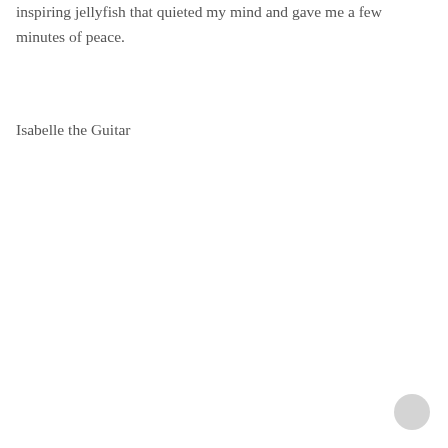inspiring jellyfish that quieted my mind and gave me a few minutes of peace.
Isabelle the Guitar